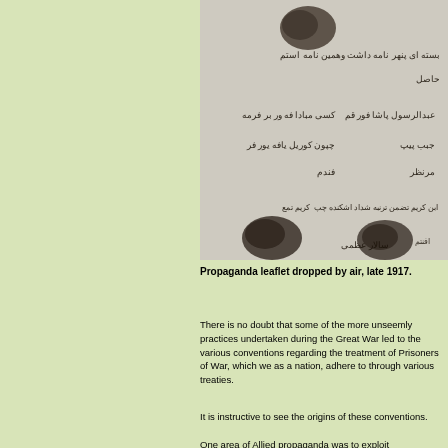[Figure (photo): A scanned propaganda leaflet in Arabic/Ottoman script with fingerprint stamps, dropped by air in late 1917.]
Propaganda leaflet dropped by air, late 1917.
There is no doubt that some of the more unseemly practices undertaken during the Great War led to the various conventions regarding the treatment of Prisoners of War, which we as a nation, adhere to through various treaties.
It is instructive to see the origins of these conventions.
One area of Allied propaganda was to exploit